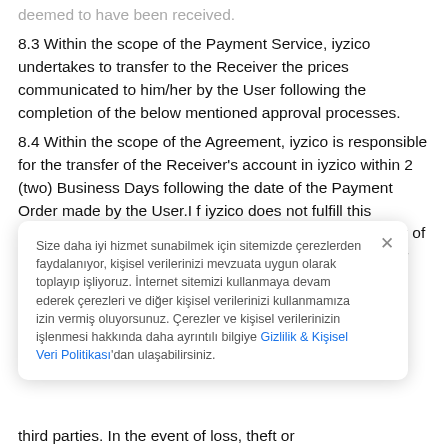deemed to have been received.
8.3 Within the scope of the Payment Service, iyzico undertakes to transfer to the Receiver the prices communicated to him/her by the User following the completion of the below mentioned approval processes.
8.4 Within the scope of the Agreement, iyzico is responsible for the transfer of the Receiver's account in iyzico within 2 (two) Business Days following the date of the Payment Order made by the User.I f iyzico does not fulfill this responsibility, it will return the unrealized or incorrect part of the payment transaction to the iyzico account of the User without
Size daha iyi hizmet sunabilmek için sitemizde çerezlerden faydalanıyor, kişisel verilerinizi mevzuata uygun olarak toplayıp işliyoruz. İnternet sitemizi kullanmaya devam ederek çerezleri ve diğer kişisel verilerinizi kullanmamıza izin vermiş oluyorsunuz. Çerezler ve kişisel verilerinizin işlenmesi hakkında daha ayrıntılı bilgiye Gizlilik & Kişisel Veri Politikası'dan ulaşabilirsiniz.
third parties. In the event of loss, theft or